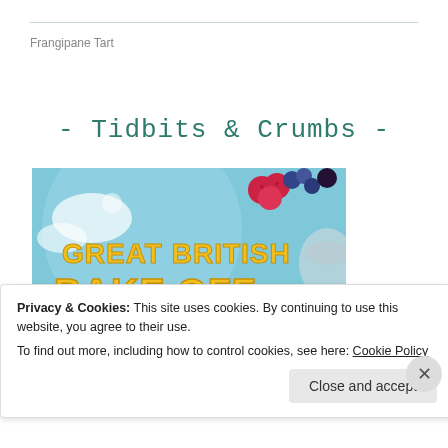Frangipane Tart
- Tidbits & Crumbs -
[Figure (photo): Great British Bake Off promotional image with yellow bold text on a light blue background with raspberries, blueberries, and powdered sugar, showing 'GREAT BRITISH BAKE OFF' and partial text below]
Privacy & Cookies: This site uses cookies. By continuing to use this website, you agree to their use.
To find out more, including how to control cookies, see here: Cookie Policy
Close and accept